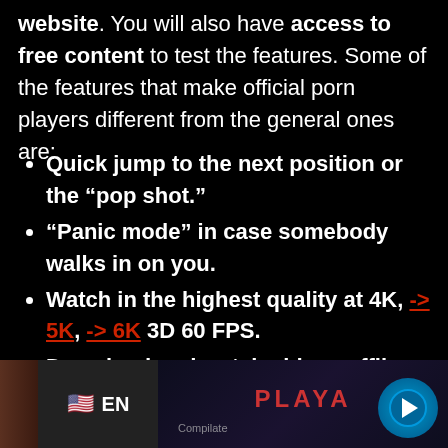website. You will also have access to free content to test the features. Some of the features that make official porn players different from the general ones are:
Quick jump to the next position or the “pop shot.”
“Panic mode” in case somebody walks in on you.
Watch in the highest quality at 4K, -> 5K, -> 6K 3D 60 FPS.
Download and watch videos offline.
Advanced settings: Camera Position and Color
[Figure (screenshot): Screenshot area showing a language selector with US flag and EN label, and a theater/video platform interface with PLAYA branding and a circular logo.]